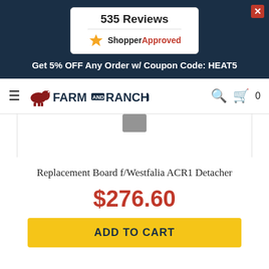[Figure (screenshot): Shopper Approved widget showing 535 Reviews with star logo]
Get 5% OFF Any Order w/ Coupon Code: HEAT5
[Figure (logo): Farm and Ranch Depot logo with cow icon, hamburger menu, search icon, and cart icon showing 0 items]
[Figure (photo): Partial product image visible at top]
Replacement Board f/Westfalia ACR1 Detacher
$276.60
ADD TO CART